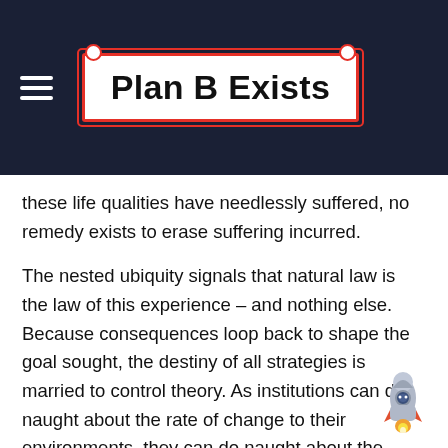Plan B Exists
these life qualities have needlessly suffered, no remedy exists to erase suffering incurred.
The nested ubiquity signals that natural law is the law of this experience – and nothing else. Because consequences loop back to shape the goal sought, the destiny of all strategies is married to control theory. As institutions can do naught about the rate of change to their environments, they can do naught about the intrinsic delays of their hindsight response. Control theory governs all such looping operations and calculates system instability generated as rate of response increasingly lags rate of disturbance.
It is tempting to list current examples in the large, su... the environmental and healthcare messes, but you will have
[Figure (illustration): Cartoon rocket ship illustration in bottom-right corner]